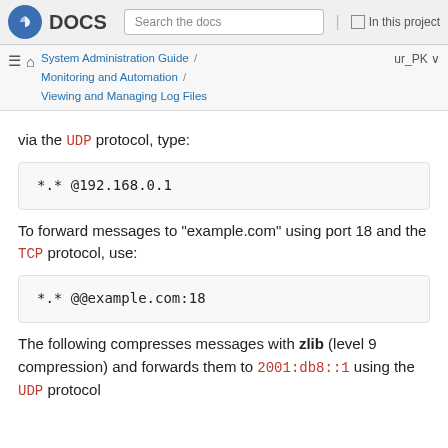Fedora DOCS — Search the docs | In this project
System Administration Guide / Monitoring and Automation / Viewing and Managing Log Files — ur_PK
via the UDP protocol, type:
*.* @192.168.0.1
To forward messages to "example.com" using port 18 and the TCP protocol, use:
*.* @@example.com:18
The following compresses messages with zlib (level 9 compression) and forwards them to 2001:db8::1 using the UDP protocol